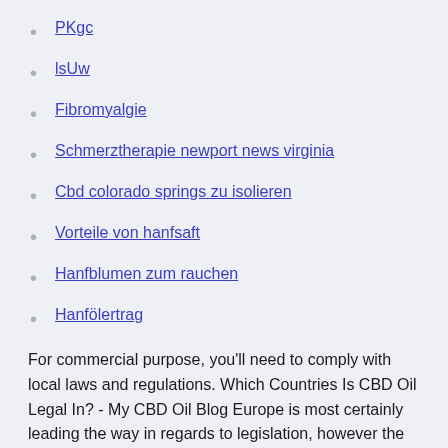PKgc
lsUw
Fibromyalgie
Schmerztherapie newport news virginia
Cbd colorado springs zu isolieren
Vorteile von hanfsaft
Hanfblumen zum rauchen
Hanfölertrag
For commercial purpose, you'll need to comply with local laws and regulations. Which Countries Is CBD Oil Legal In? - My CBD Oil Blog Europe is most certainly leading the way in regards to legislation, however the laws are largely set around the requirement for a low or almost